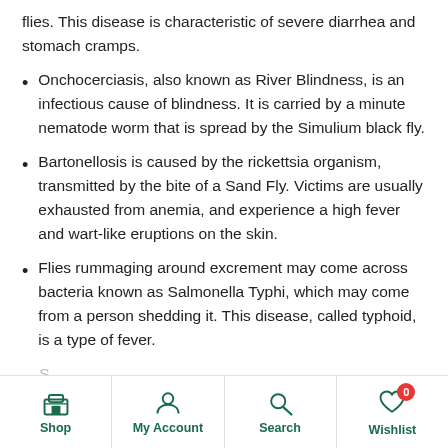flies. This disease is characteristic of severe diarrhea and stomach cramps.
Onchocerciasis, also known as River Blindness, is an infectious cause of blindness. It is carried by a minute nematode worm that is spread by the Simulium black fly.
Bartonellosis is caused by the rickettsia organism, transmitted by the bite of a Sand Fly. Victims are usually exhausted from anemia, and experience a high fever and wart-like eruptions on the skin.
Flies rummaging around excrement may come across bacteria known as Salmonella Typhi, which may come from a person shedding it. This disease, called typhoid, is a type of fever.